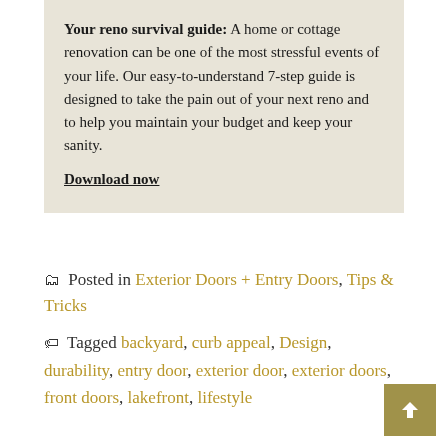Your reno survival guide: A home or cottage renovation can be one of the most stressful events of your life. Our easy-to-understand 7-step guide is designed to take the pain out of your next reno and to help you maintain your budget and keep your sanity. Download now
Posted in Exterior Doors + Entry Doors, Tips & Tricks
Tagged backyard, curb appeal, Design, durability, entry door, exterior door, exterior doors, front doors, lakefront, lifestyle